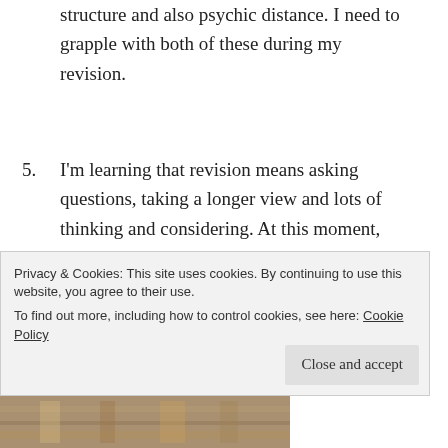structure and also psychic distance. I need to grapple with both of these during my revision.
5. I'm learning that revision means asking questions, taking a longer view and lots of thinking and considering. At this moment, not so much rewriting. I am predicting that this will change as I move through The Great Plan.
6. And now I've started on the second phase, revising aspects of the characters. I have already redrafted the arrival of the second main character. It's not tight
• (bullet item, partially visible)
Privacy & Cookies: This site uses cookies. By continuing to use this website, you agree to their use.
To find out more, including how to control cookies, see here: Cookie Policy
Close and accept
[Figure (photo): Partially visible image strip at bottom of page]